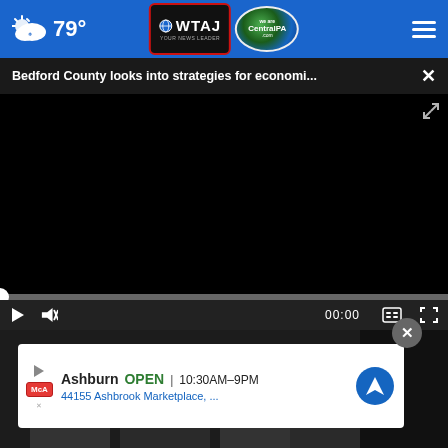79° WTAJ CentralPA.com
Bedford County looks into strategies for economi... ×
[Figure (screenshot): Video player showing a black screen with playback controls. Progress bar at 0:00. Play button, mute button, time display 00:00, captions button, and fullscreen button visible.]
[Figure (screenshot): Advertisement overlay showing: Ashburn OPEN 10:30AM-9PM, 44155 Ashbrook Marketplace, ... with a navigation icon. Ad has a close (x) button and shows McA logo.]